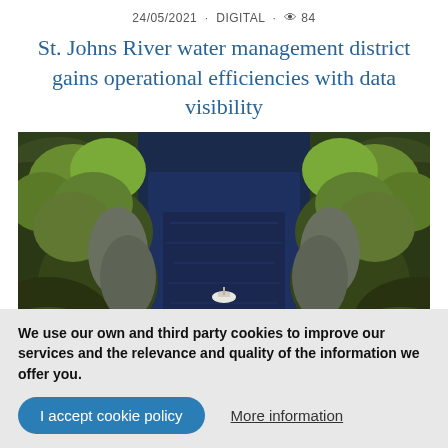24/05/2021 · DIGITAL · 👁 84
St. Johns River water management district gains operational efficiencies with data visibility
[Figure (photo): Aerial view of a dark river flanked by dense green and bare trees, with a small white boat visible in the center of the river]
We use our own and third party cookies to improve our services and the relevance and quality of the information we offer you.
I accept cookie policy
More information